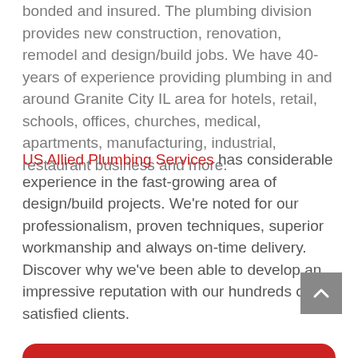bonded and insured. The plumbing division provides new construction, renovation, remodel and design/build jobs. We have 40-years of experience providing plumbing in and around Granite City IL area for hotels, retail, schools, offices, churches, medical, apartments, manufacturing, industrial, restaurant business and more.
US Allied Plumbing Services has considerable experience in the fast-growing area of design/build projects. We're noted for our professionalism, proven techniques, superior workmanship and always on-time delivery. Discover why we've been able to develop an impressive reputation with our hundreds of satisfied clients.